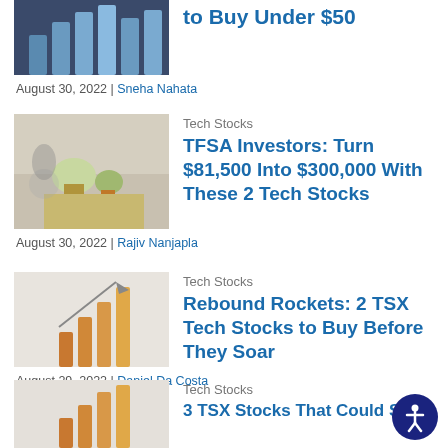[Figure (photo): Thumbnail image of bar chart graphic (top, partially visible)]
to Buy Under $50
August 30, 2022 | Sneha Nahata
[Figure (photo): Person watering a plant growing from coins - Tech Stocks article thumbnail]
Tech Stocks
TFSA Investors: Turn $81,500 Into $300,000 With These 2 Tech Stocks
August 30, 2022 | Rajiv Nanjapla
[Figure (photo): Small wooden blocks with upward arrow - Tech Stocks article thumbnail]
Tech Stocks
Rebound Rockets: 2 TSX Tech Stocks to Buy Before They Soar
August 29, 2022 | Daniel Da Costa
[Figure (photo): Hands with wooden blocks/arrows - Tech Stocks article thumbnail]
Tech Stocks
3 TSX Stocks That Could Soar